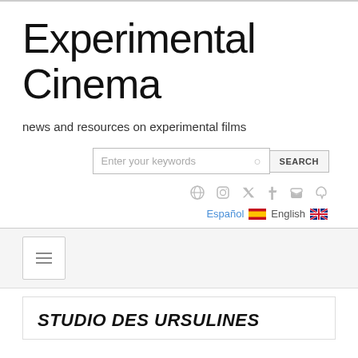Experimental Cinema
news and resources on experimental films
[Figure (screenshot): Search bar with text 'Enter your keywords' and a SEARCH button]
[Figure (screenshot): Social media icons: globe, instagram, twitter, tumblr, facebook, email, rss]
Español  English
[Figure (screenshot): Hamburger menu button with three horizontal lines]
STUDIO DES URSULINES